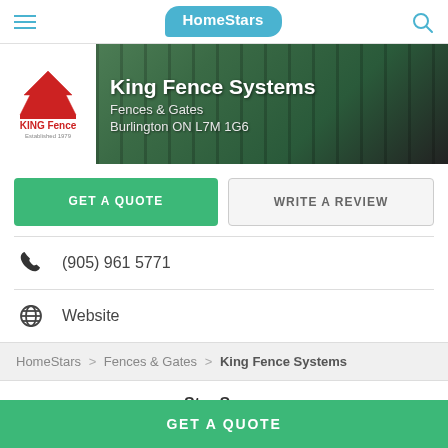HomeStars
[Figure (screenshot): King Fence Systems hero banner with logo and company info: Fences & Gates, Burlington ON L7M 1G6]
GET A QUOTE
WRITE A REVIEW
(905) 961 5771
Website
HomeStars > Fences & Gates > King Fence Systems
Star Score
GET A QUOTE